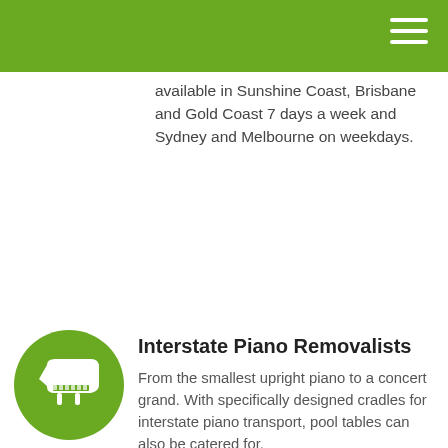available in Sunshine Coast, Brisbane and Gold Coast 7 days a week and Sydney and Melbourne on weekdays.
Interstate Piano Removalists
From the smallest upright piano to a concert grand. With specifically designed cradles for interstate piano transport, pool tables can also be catered for.
Furniture Storage
Looking at storage options? Short term storage or long term, we have it all covered.